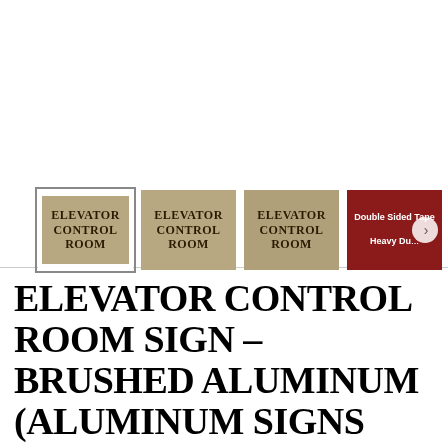[Figure (photo): Product thumbnail gallery showing four images: three brushed aluminum 'ELEVATOR CONTROL ROOM' signs and one red 'Double Sided Tape Heavy Duty' image with a right-arrow navigation button. The first thumbnail is selected (highlighted border).]
ELEVATOR CONTROL ROOM SIGN – BRUSHED ALUMINUM (ALUMINUM SIGNS 6X11.75)